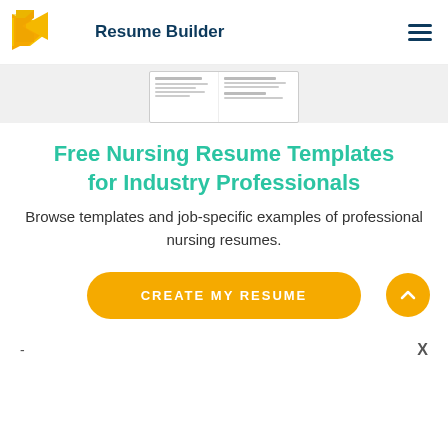Resume Builder
[Figure (screenshot): Partial resume template preview card showing text lines in a document layout]
Free Nursing Resume Templates for Industry Professionals
Browse templates and job-specific examples of professional nursing resumes.
CREATE MY RESUME
- X